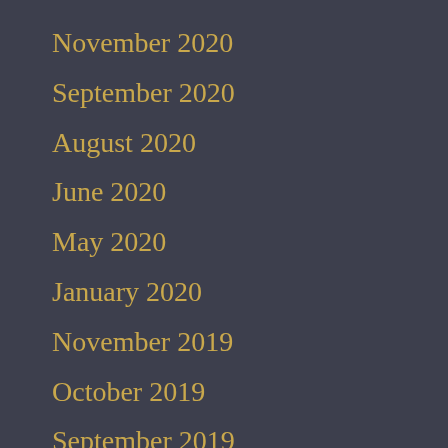November 2020
September 2020
August 2020
June 2020
May 2020
January 2020
November 2019
October 2019
September 2019
August 2019
July 2019
June 2019
May 2019